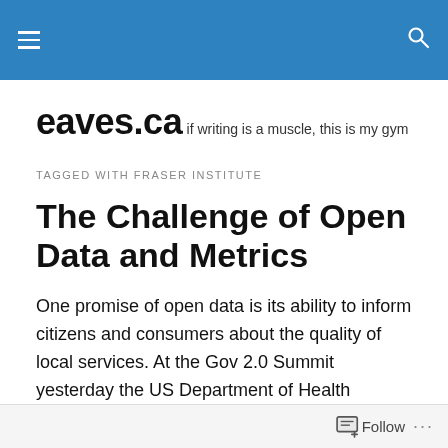eaves.ca — navigation header bar
eaves.ca
if writing is a muscle, this is my gym
TAGGED WITH FRASER INSTITUTE
The Challenge of Open Data and Metrics
One promise of open data is its ability to inform citizens and consumers about the quality of local services. At the Gov 2.0 Summit yesterday the US Department of Health
Follow